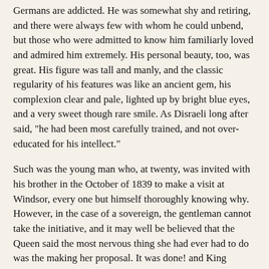Germans are addicted. He was somewhat shy and retiring, and there were always few with whom he could unbend, but those who were admitted to know him familiarly loved and admired him extremely. His personal beauty, too, was great. His figure was tall and manly, and the classic regularity of his features was like an ancient gem, his complexion clear and pale, lighted up by bright blue eyes, and a very sweet though rare smile. As Disraeli long after said, "he had been most carefully trained, and not over-educated for his intellect."
Such was the young man who, at twenty, was invited with his brother in the October of 1839 to make a visit at Windsor, every one but himself thoroughly knowing why. However, in the case of a sovereign, the gentleman cannot take the initiative, and it may well be believed that the Queen said the most nervous thing she had ever had to do was the making her proposal. It was done! and King Leopold wrote that he could say, "Lord, now lettest Thou Thy servant depart in peace," while the Queen made her formal announcement to the Privy Council.
The country watched a little anxiously. The antecedents of consorts to British Queens regnant had not been encouraging. Philip of Spain had been a hateful tyrant, Henry of Darnley mischievous and wretched in life and death, George of Denmark a mere nonentity, only remembered for his habit of saying Est il